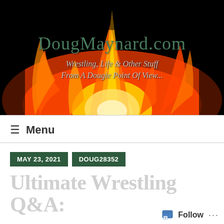[Figure (photo): Website banner for DougMaynard.com showing flames on a black background with the site title and subtitle overlaid in teal/green and grey text]
DougMaynard.com
Wrestling, Life & Other Stuff From A Dougie Point Of View...
≡ Menu
MAY 23, 2021
DOUG28352
Ultimate Wrestling Q&A: